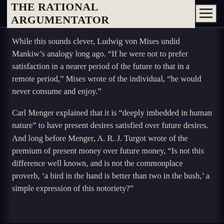THE RATIONAL ARGUMENTATOR
While this sounds clever, Ludwig von Mises undid Mankiw’s analogy long ago. “If he were not to prefer satisfaction in a nearer period of the future to that in a remote period,” Mises wrote of the individual, “he would never consume and enjoy.”
Carl Menger explained that it is “deeply imbedded in human nature” to have present desires satisfied over future desires. And long before Menger, A. R. J. Turgot wrote of the premium of present money over future money, “Is not this difference well known, and is not the commonplace proverb, ‘a bird in the hand is better than two in the bush,’ a simple expression of this notoriety?”